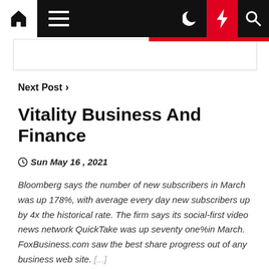Navigation bar with home, menu, moon, bolt, and search icons
Next Post >
Vitality Business And Finance
Sun May 16 , 2021
Bloomberg says the number of new subscribers in March was up 178%, with average every day new subscribers up by 4x the historical rate. The firm says its social-first video news network QuickTake was up seventy one%in March. FoxBusiness.com saw the best share progress out of any business web site. [...]